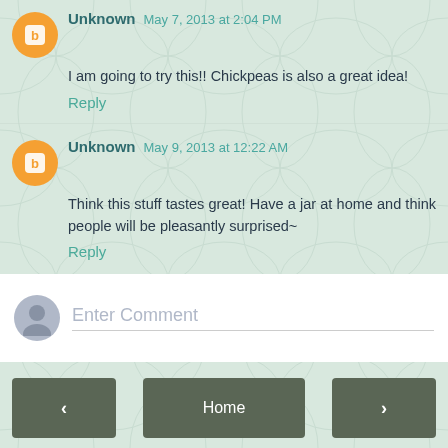Unknown May 7, 2013 at 2:04 PM
I am going to try this!! Chickpeas is also a great idea!
Reply
Unknown May 9, 2013 at 12:22 AM
Think this stuff tastes great! Have a jar at home and think people will be pleasantly surprised~
Reply
[Figure (other): Enter Comment input box with grey avatar icon]
Home
View web version
Powered by Blogger.